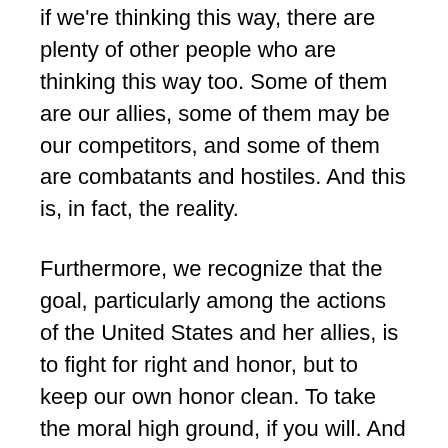if we're thinking this way, there are plenty of other people who are thinking this way too. Some of them are our allies, some of them may be our competitors, and some of them are combatants and hostiles. And this is, in fact, the reality.
Furthermore, we recognize that the goal, particularly among the actions of the United States and her allies, is to fight for right and honor, but to keep our own honor clean. To take the moral high ground, if you will. And indeed, that has been the case in the majority of the United States engagements throughout our history.
However, one of the things that may creep up here is that there's something of an abrogation, a prohibition, a prescription, against engaging this